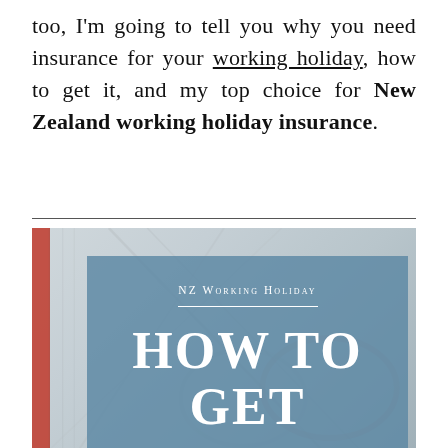too, I'm going to tell you why you need insurance for your working holiday, how to get it, and my top choice for New Zealand working holiday insurance.
[Figure (illustration): Promotional image for NZ Working Holiday insurance guide. Shows a background photo of a passport/map with glasses overlay, and a blue semi-transparent overlay box containing text: 'NZ Working Holiday' in small caps, a horizontal divider line, 'HOW TO' in large bold white serif text, and 'GET' in large bold white serif text below.]